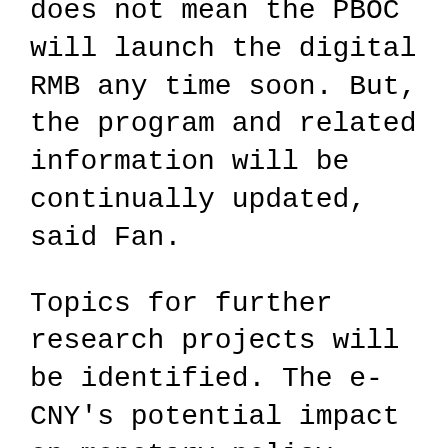does not mean the PBOC will launch the digital RMB any time soon. But, the program and related information will be continually updated, said Fan.
Topics for further research projects will be identified. The e-CNY's potential impact on monetary policy, financial system and financial stability will likely receive attention, he said.
The central bank will continually improve the e-CNY ecosystem, and continue to explore new application models as well as optimize the